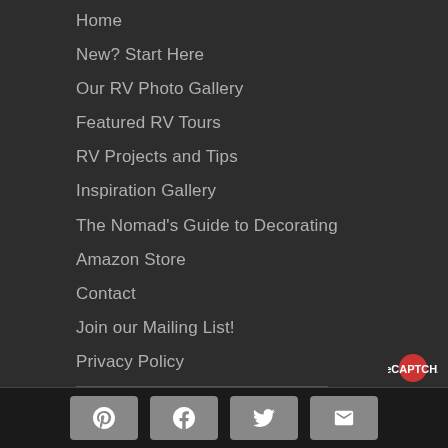Home
New? Start Here
Our RV Photo Gallery
Featured RV Tours
RV Projects and Tips
Inspiration Gallery
The Nomad's Guide to Decorating
Amazon Store
Contact
Join our Mailing List!
Privacy Policy
Affiliate Portal
Social media share buttons: Pinterest, Facebook, Twitter, Email